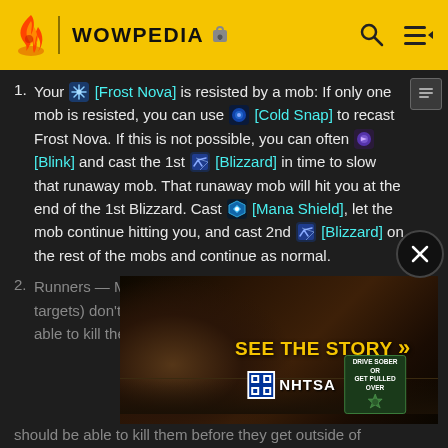WOWPEDIA
Your [Frost Nova] is resisted by a mob: If only one mob is resisted, you can use [Cold Snap] to recast Frost Nova. If this is not possible, you can often [Blink] and cast the 1st [Blizzard] in time to slow that runaway mob. That runaway mob will hit you at the end of the 1st Blizzard. Cast [Mana Shield], let the mob continue hitting you, and cast 2nd [Blizzard] on the rest of the mobs and continue as normal.
Runners — Most humanoid mobs (preferred SFAEG targets) don't run until the 3rd Blizzard, so you should be able to kill them before they get outside of
[Figure (screenshot): NHTSA advertisement banner with 'SEE THE STORY >>' text and Drive Sober or Get Pulled Over logos, overlaying the page content]